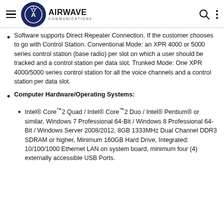Airwave Communications
Software supports Direct Repeater Connection. If the customer chooses to go with Control Station. Conventional Mode: an XPR 4000 or 5000 series control station (base radio) per slot on which a user should be tracked and a control station per data slot. Trunked Mode: One XPR 4000/5000 series control station for all the voice channels and a control station per data slot.
Computer Hardware/Operating Systems:
Intel® Core™2 Quad / Intel® Core™2 Duo / Intel® Pentium® or similar, Windows 7 Professional 64-Bit / Windows 8 Professional 64-Bit / Windows Server 2008/2012, 8GB 1333MHz Dual Channel DDR3 SDRAM or higher, Minimum 160GB Hard Drive, Integrated: 10/100/1000 Ethernet LAN on system board, minimum four (4) externally accessible USB Ports.